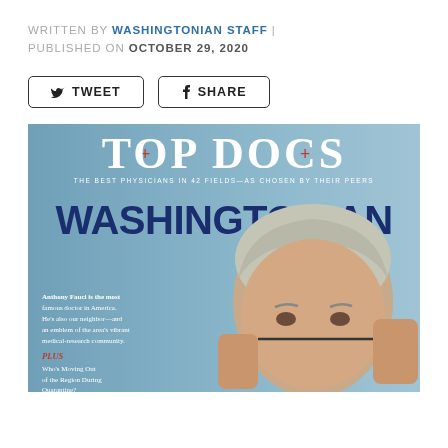WRITTEN BY WASHINGTONIAN STAFF | PUBLISHED ON OCTOBER 29, 2020
[Figure (other): Tweet button and Share button in a row]
[Figure (photo): Washingtonian magazine cover: Top Docs issue, featuring Anthony Fauci pulling down a face mask, with large 'WASHINGTONIAN' text and 'TOP DOCS' headline, subtitle 'The best physicians in 42 fields—as chosen by their peers', published October 2020. Cover blurb: 'Anthony Fauci is the most famous doctor in America. He's also our neighbor—and an emblem of the area's vibrant medical-research community. PLUS Who's Moving Out of the Region During Quarantine?']